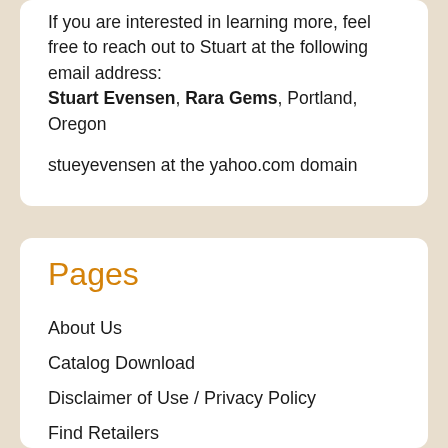If you are interested in learning more, feel free to reach out to Stuart at the following email address: Stuart Evensen, Rara Gems, Portland, Oregon
stueyevensen at the yahoo.com domain
Pages
About Us
Catalog Download
Disclaimer of Use / Privacy Policy
Find Retailers
Just Added
Our Glass Glitter
Our History
Our Mushrooms